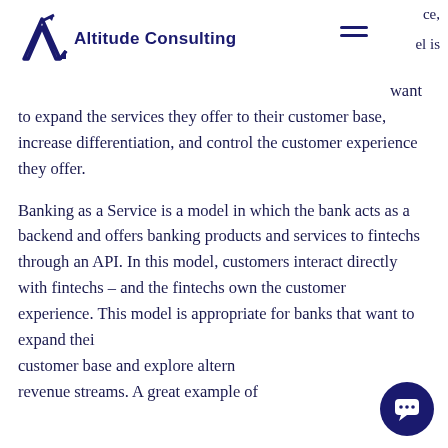Altitude Consulting
ce,
el is
want to expand the services they offer to their customer base, increase differentiation, and control the customer experience they offer.
Banking as a Service is a model in which the bank acts as a backend and offers banking products and services to fintechs through an API. In this model, customers interact directly with fintechs – and the fintechs own the customer experience. This model is appropriate for banks that want to expand their customer base and explore alternative revenue streams. A great example of